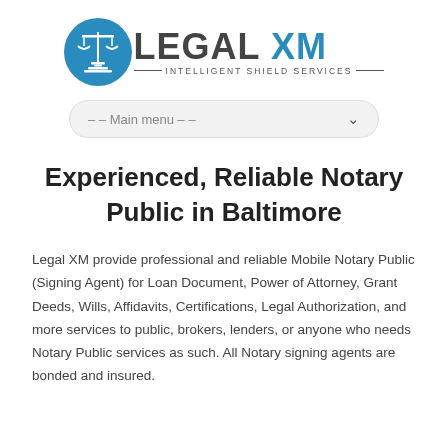[Figure (logo): Legal XM logo with scales of justice icon in blue circle and text 'LEGAL XM — INTELLIGENT SHIELD SERVICES —']
– – Main menu – –
Experienced, Reliable Notary Public in Baltimore
Legal XM provide professional and reliable Mobile Notary Public (Signing Agent) for Loan Document, Power of Attorney, Grant Deeds, Wills, Affidavits, Certifications, Legal Authorization, and more services to public, brokers, lenders, or anyone who needs Notary Public services as such. All Notary signing agents are bonded and insured.